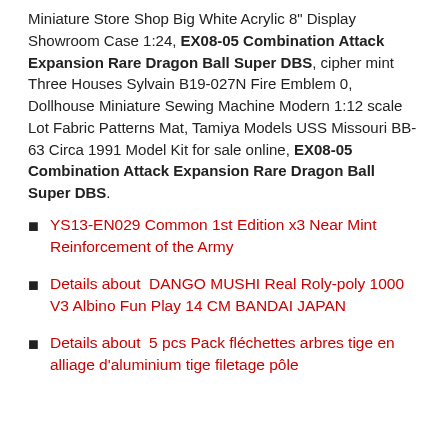Miniature Store Shop Big White Acrylic 8" Display Showroom Case 1:24, EX08-05 Combination Attack Expansion Rare Dragon Ball Super DBS, cipher mint Three Houses Sylvain B19-027N Fire Emblem 0, Dollhouse Miniature Sewing Machine Modern 1:12 scale Lot Fabric Patterns Mat, Tamiya Models USS Missouri BB-63 Circa 1991 Model Kit for sale online, EX08-05 Combination Attack Expansion Rare Dragon Ball Super DBS.
YS13-EN029 Common 1st Edition x3 Near Mint Reinforcement of the Army
Details about  DANGO MUSHI Real Roly-poly 1000 V3 Albino Fun Play 14 CM BANDAI JAPAN
Details about  5 pcs Pack fléchettes arbres tige en alliage d'aluminium tige filetage pôle